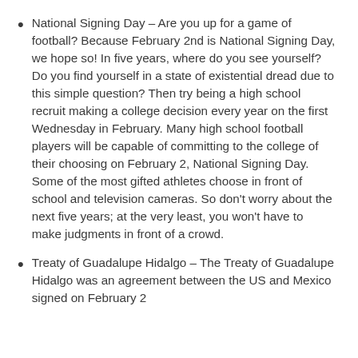National Signing Day – Are you up for a game of football? Because February 2nd is National Signing Day, we hope so! In five years, where do you see yourself? Do you find yourself in a state of existential dread due to this simple question? Then try being a high school recruit making a college decision every year on the first Wednesday in February. Many high school football players will be capable of committing to the college of their choosing on February 2, National Signing Day. Some of the most gifted athletes choose in front of school and television cameras. So don't worry about the next five years; at the very least, you won't have to make judgments in front of a crowd.
Treaty of Guadalupe Hidalgo – The Treaty of Guadalupe Hidalgo was an agreement between the US and Mexico signed on February 2...